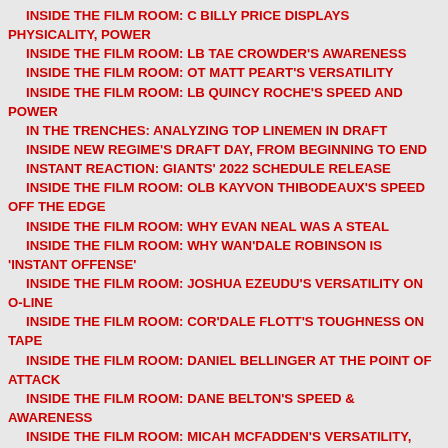INSIDE THE FILM ROOM: C BILLY PRICE DISPLAYS PHYSICALITY, POWER
INSIDE THE FILM ROOM: LB TAE CROWDER'S AWARENESS
INSIDE THE FILM ROOM: OT MATT PEART'S VERSATILITY
INSIDE THE FILM ROOM: LB QUINCY ROCHE'S SPEED AND POWER
IN THE TRENCHES: ANALYZING TOP LINEMEN IN DRAFT
INSIDE NEW REGIME'S DRAFT DAY, FROM BEGINNING TO END
INSTANT REACTION: GIANTS' 2022 SCHEDULE RELEASE
INSIDE THE FILM ROOM: OLB KAYVON THIBODEAUX'S SPEED OFF THE EDGE
INSIDE THE FILM ROOM: WHY EVAN NEAL WAS A STEAL
INSIDE THE FILM ROOM: WHY WAN'DALE ROBINSON IS 'INSTANT OFFENSE'
INSIDE THE FILM ROOM: JOSHUA EZEUDU'S VERSATILITY ON O-LINE
INSIDE THE FILM ROOM: COR'DALE FLOTT'S TOUGHNESS ON TAPE
INSIDE THE FILM ROOM: DANIEL BELLINGER AT THE POINT OF ATTACK
INSIDE THE FILM ROOM: DANE BELTON'S SPEED & AWARENESS
INSIDE THE FILM ROOM: MICAH MCFADDEN'S VERSATILITY, LEADERSHIP
INSIDE THE FILM ROOM: D.J. DAVIDSON'S POWER, USE OF HANDS
INSIDE THE FILM ROOM: MARCUS MCKETHAN SHOWS GOOD FOOTWORK
INSIDE THE FILM ROOM: DARRIAN BEAVERS BRINGS A LOT OF POP
IMPORTANT NFL DATES TO KNOW FOR 2022-23
INSIDE ED TRIGGS' ROLE AS DIRECTOR OF FOOTBALL OPS